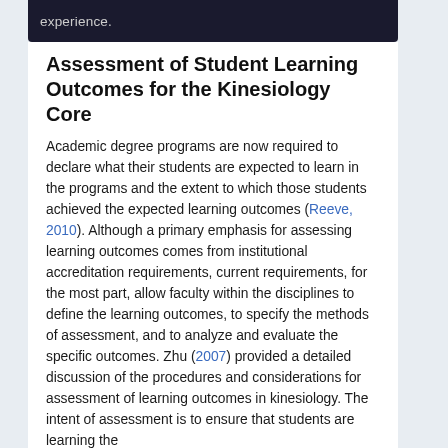experience.
Assessment of Student Learning Outcomes for the Kinesiology Core
Academic degree programs are now required to declare what their students are expected to learn in the programs and the extent to which those students achieved the expected learning outcomes (Reeve, 2010). Although a primary emphasis for assessing learning outcomes comes from institutional accreditation requirements, current requirements, for the most part, allow faculty within the disciplines to define the learning outcomes, to specify the methods of assessment, and to analyze and evaluate the specific outcomes. Zhu (2007) provided a detailed discussion of the procedures and considerations for assessment of learning outcomes in kinesiology. The intent of assessment is to ensure that students are learning the